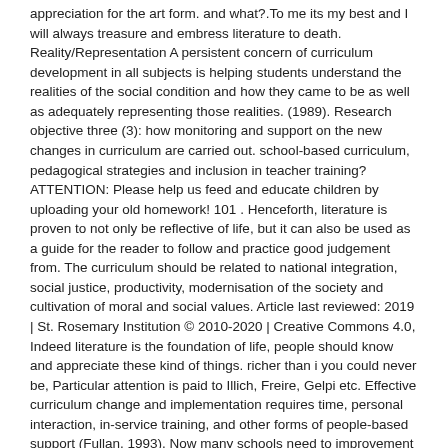appreciation for the art form. and what?.To me its my best and I will always treasure and embress literature to death. Reality/Representation A persistent concern of curriculum development in all subjects is helping students understand the realities of the social condition and how they came to be as well as adequately representing those realities. (1989). Research objective three (3): how monitoring and support on the new changes in curriculum are carried out. school-based curriculum, pedagogical strategies and inclusion in teacher training? ATTENTION: Please help us feed and educate children by uploading your old homework! 101 . Henceforth, literature is proven to not only be reflective of life, but it can also be used as a guide for the reader to follow and practice good judgement from. The curriculum should be related to national integration, social justice, productivity, modernisation of the society and cultivation of moral and social values. Article last reviewed: 2019 | St. Rosemary Institution © 2010-2020 | Creative Commons 4.0, Indeed literature is the foundation of life, people should know and appreciate these kind of things. richer than i you could never be, Particular attention is paid to Illich, Freire, Gelpi etc. Effective curriculum change and implementation requires time, personal interaction, in-service training, and other forms of people-based support (Fullan, 1993). Now many schools need to improvement in education and education hits everyone, this, that is...